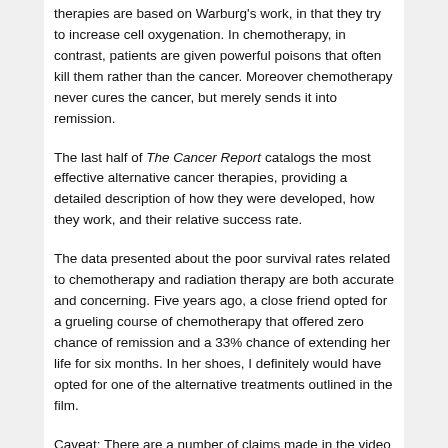therapies are based on Warburg's work, in that they try to increase cell oxygenation. In chemotherapy, in contrast, patients are given powerful poisons that often kill them rather than the cancer. Moreover chemotherapy never cures the cancer, but merely sends it into remission.
The last half of The Cancer Report catalogs the most effective alternative cancer therapies, providing a detailed description of how they were developed, how they work, and their relative success rate.
The data presented about the poor survival rates related to chemotherapy and radiation therapy are both accurate and concerning. Five years ago, a close friend opted for a grueling course of chemotherapy that offered zero chance of remission and a 33% chance of extending her life for six months. In her shoes, I definitely would have opted for one of the alternative treatments outlined in the film.
Caveat: There are a number of claims made in the video that can't be substantiated – for example that